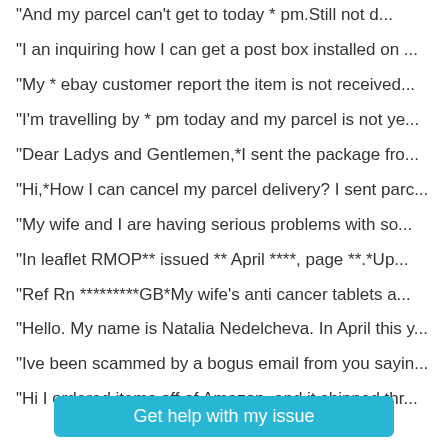"And my parcel can't get to today * pm.Still not d...
"I an inquiring how I can get a post box installed on ...
"My * ebay customer report the item is not received...
"I'm travelling by * pm today and my parcel is not ye...
"Dear Ladys and Gentlemen,*I sent the package fro...
"Hi,*How I can cancel my parcel delivery? I sent parc...
"My wife and I are having serious problems with so...
"In leaflet RMOP** issued ** April ****, page **.*Up...
"Ref Rn *********GB*My wife's anti cancer tablets a...
"Hello. My name is Natalia Nedelcheva. In April this y...
"Ive been scammed by a bogus email from you sayin...
"Hi I ordered items off of Amazon, and it shipped thr...
Get help with my issue